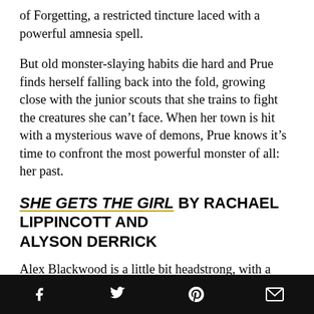of Forgetting, a restricted tincture laced with a powerful amnesia spell.
But old monster-slaying habits die hard and Prue finds herself falling back into the fold, growing close with the junior scouts that she trains to fight the creatures she can't face. When her town is hit with a mysterious wave of demons, Prue knows it's time to confront the most powerful monster of all: her past.
SHE GETS THE GIRL BY RACHAEL LIPPINCOTT AND ALYSON DERRICK
Alex Blackwood is a little bit headstrong, with a dash
Social share icons: Facebook, Twitter, Pinterest, Email